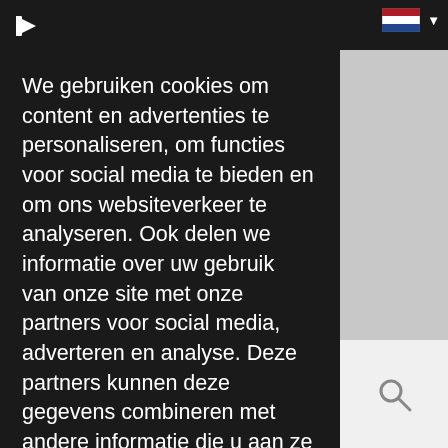[Figure (screenshot): Website cookie consent overlay on dark background with Dutch language text, showing a cookie notice, a 'Details weergeven' link, and an 'Accepteer Cookies!' yellow button. A navigation bar is visible at the top with a flag/language selector. A search icon is visible on the right side.]
We gebruiken cookies om content en advertenties te personaliseren, om functies voor social media te bieden en om ons websiteverkeer te analyseren. Ook delen we informatie over uw gebruik van onze site met onze partners voor social media, adverteren en analyse. Deze partners kunnen deze gegevens combineren met andere informatie die u aan ze heeft verstrekt of die ze hebben verzameld op basis van uw gebruik van hun services.
Details weergeven
Accepteer Cookies!